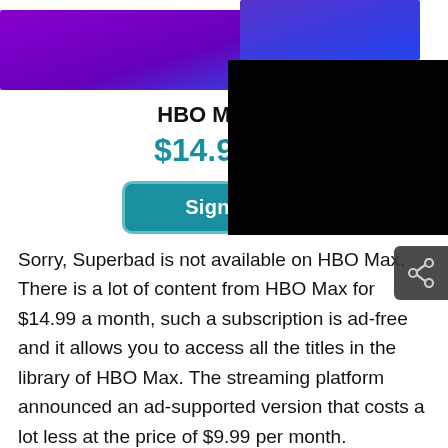[Figure (illustration): Gradient banner with purple and blue colors at the top of the page, partially covered by a black rectangle overlay on the right side]
HBO M
$14.9
Sign Up
Sorry, Superbad is not available on HBO Max. There is a lot of content from HBO Max for $14.99 a month, such a subscription is ad-free and it allows you to access all the titles in the library of HBO Max. The streaming platform announced an ad-supported version that costs a lot less at the price of $9.99 per month.